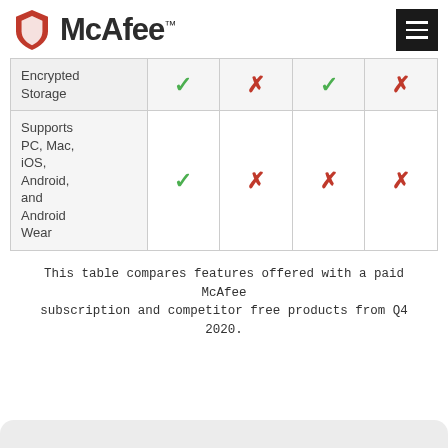McAfee
| Feature | Col1 | Col2 | Col3 | Col4 |
| --- | --- | --- | --- | --- |
| Encrypted Storage | ✓ | ✗ | ✓ | ✗ |
| Supports PC, Mac, iOS, Android, and Android Wear | ✓ | ✗ | ✗ | ✗ |
This table compares features offered with a paid McAfee subscription and competitor free products from Q4 2020.